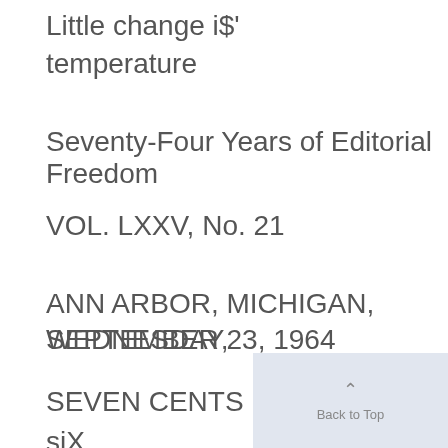Little change i$' temperature
Seventy-Four Years of Editorial Freedom
VOL. LXXV, No. 21
ANN ARBOR, MICHIGAN, WEDNESDAY, SEPTEMBER 23, 1964
SEVEN CENTS
siX